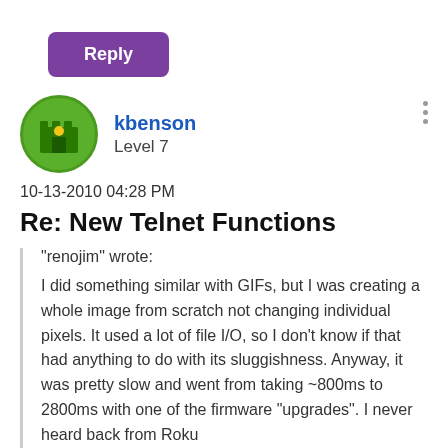[Figure (other): Purple Reply button]
kbenson
Level 7
10-13-2010 04:28 PM
Re: New Telnet Functions
"renojim" wrote:
I did something similar with GIFs, but I was creating a whole image from scratch not changing individual pixels. It used a lot of file I/O, so I don't know if that had anything to do with its sluggishness. Anyway, it was pretty slow and went from taking ~800ms to 2800ms with one of the firmware "upgrades". I never heard back from Roku